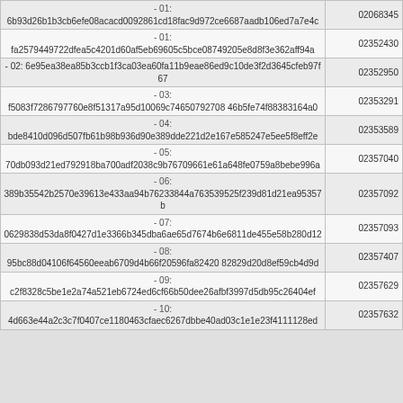| Data | ID |
| --- | --- |
| -01:
fa2579449722dfea5c4201d60af5eb69605c5bce08749205e8d8f3e362aff94a | 02352430 |
| -02: 6e95ea38ea85b3ccb1f3ca03ea60fa11b9eae86ed9c10de3f2d3645cfeb97f67 | 02352950 |
| -03:
f5083f7286797760e8f51317a95d10069c74650792708 46b5fe74f88383164a0 | 02353291 |
| -04:
bde8410d096d507fb61b98b936d90e389dde221d2e167e585247e5ee5f8eff2e | 02353589 |
| -05:
70db093d21ed792918ba700adf2038c9b767096 61e61a648fe0759a8bebe996a | 02357040 |
| -06:
389b35542b2570e39613e433aa94b76233844a763539525f239d81d21ea95357b | 02357092 |
| -07:
0629838d53da8f0427d1e3366b345dba6ae65d7674b6e6811de455e58b280d12 | 02357093 |
| -08:
95bc88d04106f64560eeab6709d4b66f20596fa82420 82829d20d8ef59cb4d9d | 02357407 |
| -09:
c2f8328c5be1e2a74a521eb6724ed6cf66b50dee26afbf3997d5db95c26404ef | 02357629 |
| -10:
4d663e44a2c3c7f0407ce1180463cfaec6267dbbe40ad03c1e1e23f4111128ed | 02357632 |